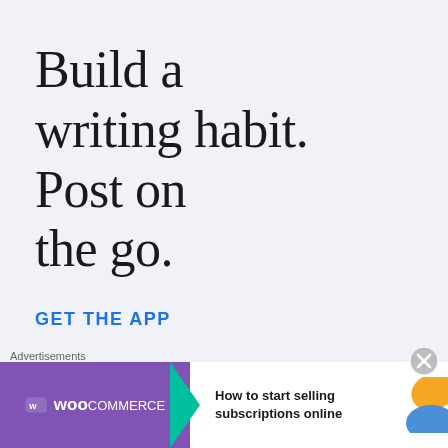[Figure (infographic): App advertisement with light blue-grey background. Large serif text reads 'Build a writing habit. Post on the go.' with a blue uppercase call-to-action link 'GET THE APP'.]
Advertisements
[Figure (infographic): WooCommerce advertisement banner with purple background on left showing WooCommerce logo with arrow, and text 'How to start selling subscriptions online' on white background with orange and blue decorative shapes.]